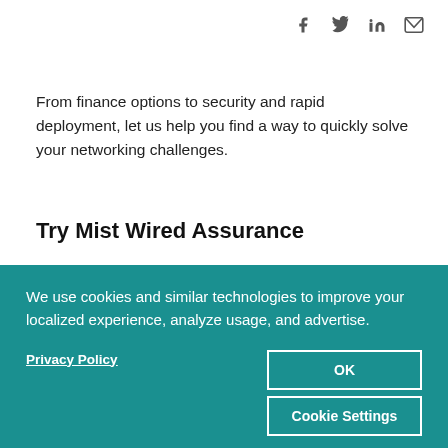[Figure (infographic): Social media share icons: Facebook (f), Twitter (bird), LinkedIn (in), Email (envelope) — dark gray, top right]
From finance options to security and rapid deployment, let us help you find a way to quickly solve your networking challenges.
Try Mist Wired Assurance
We use cookies and similar technologies to improve your localized experience, analyze usage, and advertise.
Privacy Policy
OK
Cookie Settings